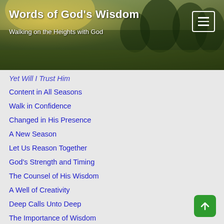Words of God's Wisdom
Walking on the Heights with God
Yet Will I Trust Him
Content in All Seasons
Walk in Confidence
Changed in His Presence
A New Season
Let Us Reason Together
God's Strength and Timing
The Counsel of His Wisdom
A Well of Creativity
Deep Calls Unto Deep
The Importance of Wisdom
Be Still & Know
Walk in His Adventure